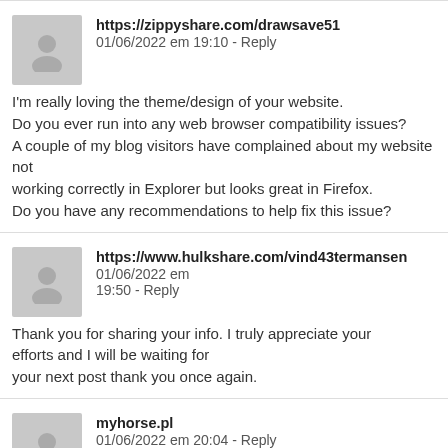https://zippyshare.com/drawsave51   01/06/2022 em 19:10 - Reply

I'm really loving the theme/design of your website. Do you ever run into any web browser compatibility issues? A couple of my blog visitors have complained about my website not working correctly in Explorer but looks great in Firefox. Do you have any recommendations to help fix this issue?
https://www.hulkshare.com/vind43termansen   01/06/2022 em 19:50 - Reply

Thank you for sharing your info. I truly appreciate your efforts and I will be waiting for your next post thank you once again.
myhorse.pl   01/06/2022 em 20:04 - Reply

Howdy! This article could not be writt... Looking at this article reminds me of my previous